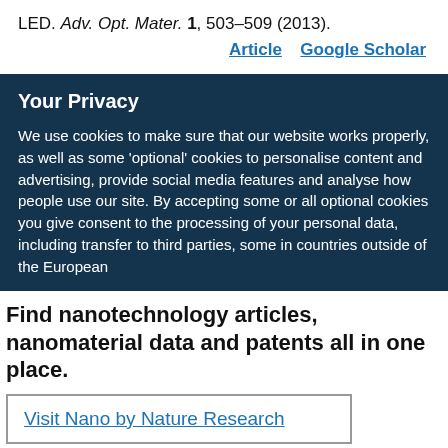LED. Adv. Opt. Mater. 1, 503–509 (2013).
Article   Google Scholar
Your Privacy
We use cookies to make sure that our website works properly, as well as some 'optional' cookies to personalise content and advertising, provide social media features and analyse how people use our site. By accepting some or all optional cookies you give consent to the processing of your personal data, including transfer to third parties, some in countries outside of the European
Find nanotechnology articles, nanomaterial data and patents all in one place.
Visit Nano by Nature Research
✕ Close